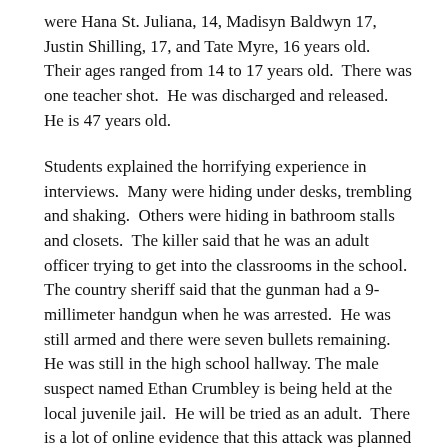were Hana St. Juliana, 14, Madisyn Baldwyn 17, Justin Shilling, 17, and Tate Myre, 16 years old.  Their ages ranged from 14 to 17 years old.  There was one teacher shot.  He was discharged and released. He is 47 years old.
Students explained the horrifying experience in interviews.  Many were hiding under desks, trembling and shaking.  Others were hiding in bathroom stalls and closets.  The killer said that he was an adult officer trying to get into the classrooms in the school.  The country sheriff said that the gunman had a 9-millimeter handgun when he was arrested.  He was still armed and there were seven bullets remaining. He was still in the high school hallway. The male suspect named Ethan Crumbley is being held at the local juvenile jail.  He will be tried as an adult.  There is a lot of online evidence that this attack was planned ahead of time.